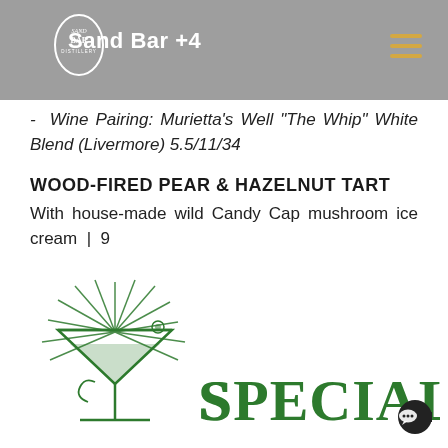Sand Bar +4
- Wine Pairing: Murietta's Well "The Whip" White Blend (Livermore) 5.5/11/34
WOOD-FIRED PEAR & HAZELNUT TART
With house-made wild Candy Cap mushroom ice cream | 9
[Figure (illustration): Green illustrated martini glass with radiating lines above it, and 'Specials' text in decorative green serif font beside it]